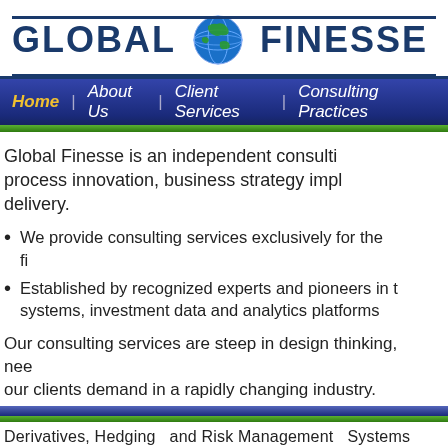[Figure (logo): Global Finesse company logo with globe icon between the two words, displayed in dark blue uppercase letters with horizontal rules above and below]
Home | About Us | Client Services | Consulting Practices
Global Finesse is an independent consulting firm specializing in process innovation, business strategy implementation, and solution delivery.
We provide consulting services exclusively for the financial industry
Established by recognized experts and pioneers in trading systems, investment data and analytics platforms
Our consulting services are steep in design thinking, needs our clients demand in a rapidly changing industry.
Derivatives, Hedging and Risk Management Systems